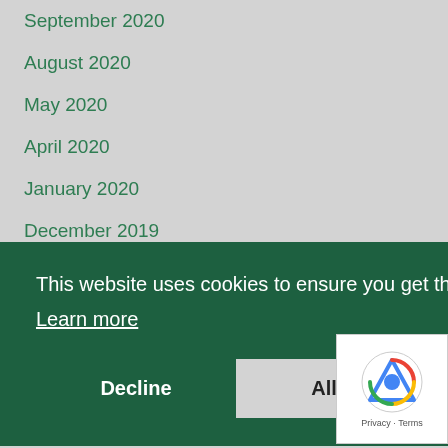September 2020
August 2020
May 2020
April 2020
January 2020
December 2019
November 2019
October 2019
September 2019
This website uses cookies to ensure you get the best experience on our website.
Learn more
Decline
Allow cookies
January 2019